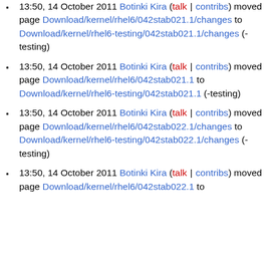13:50, 14 October 2011 Botinki Kira (talk | contribs) moved page Download/kernel/rhel6/042stab021.1/changes to Download/kernel/rhel6-testing/042stab021.1/changes (-testing)
13:50, 14 October 2011 Botinki Kira (talk | contribs) moved page Download/kernel/rhel6/042stab021.1 to Download/kernel/rhel6-testing/042stab021.1 (-testing)
13:50, 14 October 2011 Botinki Kira (talk | contribs) moved page Download/kernel/rhel6/042stab022.1/changes to Download/kernel/rhel6-testing/042stab022.1/changes (-testing)
13:50, 14 October 2011 Botinki Kira (talk | contribs) moved page Download/kernel/rhel6/042stab022.1 to